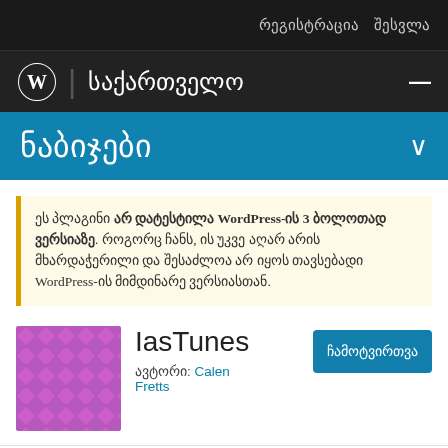რეგისტრაცია  შესვლა
საქართველო
ნაბიჯები
ეს პლაგინი არ დატესტილა WordPress-ის 3 ბოლოთად ვერსიაზე. როგორც ჩანს, ის უკვე აღარ არის მხარდაჭერილი და შესაძლოა არ იყოს თავსებადი WordPress-ის მიმდინარე ვერსიასთან.
[Figure (illustration): Purple mosaic/diamond pattern plugin thumbnail for IasTunes]
IasTunes
ავტორი: Calen Fretts
ჩამოტვირთვა
დეტალები